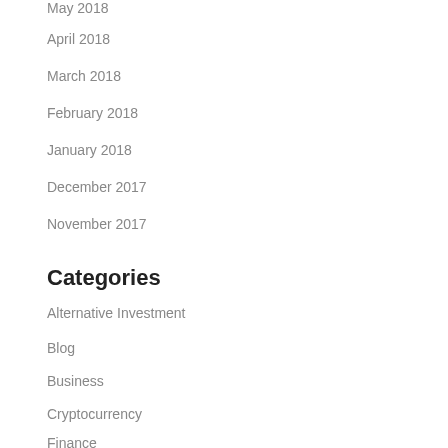May 2018
April 2018
March 2018
February 2018
January 2018
December 2017
November 2017
Categories
Alternative Investment
Blog
Business
Cryptocurrency
Finance
Health